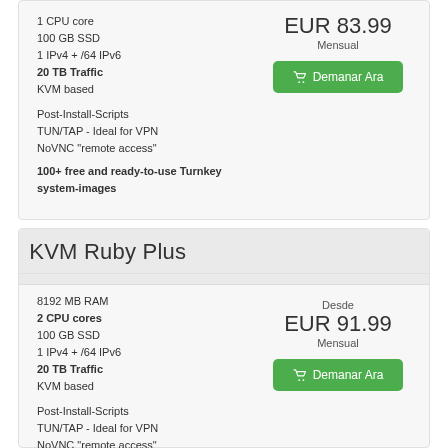100 GB SSD
1 IPv4 + /64 IPv6
20 TB Traffic
KVM based
EUR 83.99
Mensual
Demanar Ara
Post-Install-Scripts
TUN/TAP - Ideal for VPN
NoVNC "remote access"
100+ free and ready-to-use Turnkey system-images
KVM Ruby Plus
8192 MB RAM
2 CPU cores
100 GB SSD
1 IPv4 + /64 IPv6
20 TB Traffic
KVM based
Desde
EUR 91.99
Mensual
Demanar Ara
Post-Install-Scripts
TUN/TAP - Ideal for VPN
NoVNC "remote access"